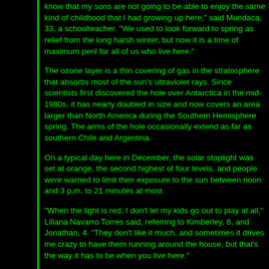know that my sons are not going to be able to enjoy the same kind of childhood that I had growing up here," said Mundaca, 33, a schoolteacher. "We used to look forward to spring as relief from the long harsh winter, but now it is a time of maximum peril for all of us who live here."
The ozone layer is a thin covering of gas in the stratosphere that absorbs most of the sun's ultraviolet rays. Since scientists first discovered the hole over Antarctica in the mid-1980s, it has nearly doubled in size and now covers an area larger than North America during the Southern Hemisphere spring. The arms of the hole occasionally extend as far as southern Chile and Argentina.
On a typical day here in December, the solar stoplight was set at orange, the second highest of four levels, and people were warned to limit their exposure to the sun between noon and 3 p.m. to 21 minutes at most
"When the light is red, I don't let my kids go out to play at all," Liliana Navarro Torres said, referring to Kimberley, 6, and Jonathan, 4. "They don't like it much, and sometimes it drives me crazy to have them running around the house, but that's the way it has to be when you live here."
The growth of the ozone hole is attributed largely to chlorofluorocarbons, or CFCs, that were widely used in aerosol sprays and refrigerants until a 1987 agreement was